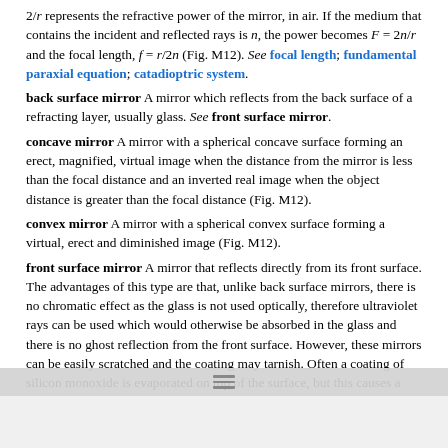2/r represents the refractive power of the mirror, in air. If the medium that contains the incident and reflected rays is n, the power becomes F = 2n/r and the focal length, f = r/2n (Fig. M12). See focal length; fundamental paraxial equation; catadioptric system.
back surface mirror A mirror which reflects from the back surface of a refracting layer, usually glass. See front surface mirror.
concave mirror A mirror with a spherical concave surface forming an erect, magnified, virtual image when the distance from the mirror is less than the focal distance and an inverted real image when the object distance is greater than the focal distance (Fig. M12).
convex mirror A mirror with a spherical convex surface forming a virtual, erect and diminished image (Fig. M12).
front surface mirror A mirror that reflects directly from its front surface. The advantages of this type are that, unlike back surface mirrors, there is no chromatic effect as the glass is not used optically, therefore ultraviolet rays can be used which would otherwise be absorbed in the glass and there is no ghost reflection from the front surface. However, these mirrors can be easily scratched and the coating may tarnish. Often a coating of silicon monoxide is evaporated on top of the surface, but this causes a loss of reflectivity. See ghost image; back surface